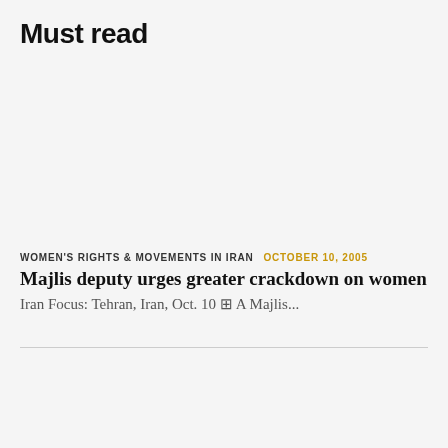Must read
WOMEN'S RIGHTS & MOVEMENTS IN IRAN   OCTOBER 10, 2005
Majlis deputy urges greater crackdown on women  Iran Focus: Tehran, Iran, Oct. 10 ⊠ A Majlis...